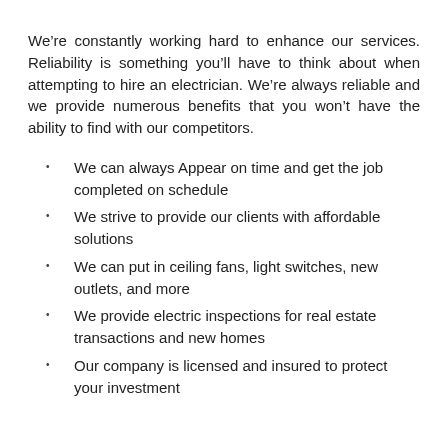We're constantly working hard to enhance our services. Reliability is something you'll have to think about when attempting to hire an electrician. We're always reliable and we provide numerous benefits that you won't have the ability to find with our competitors.
We can always Appear on time and get the job completed on schedule
We strive to provide our clients with affordable solutions
We can put in ceiling fans, light switches, new outlets, and more
We provide electric inspections for real estate transactions and new homes
Our company is licensed and insured to protect your investment